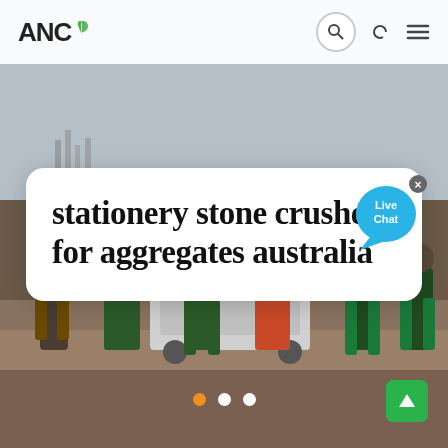[Figure (screenshot): Website screenshot showing ANC logo with leaf icon in navigation bar, search icon, moon/dark mode icon, and hamburger menu icon on a light background]
[Figure (photo): Background photo of a construction site with several workers standing around heavy machinery/stone crusher equipment on a dirt ground with industrial structures visible in the hazy background]
stationery stone crushers for aggregates australia
[Figure (other): Live Chat speech bubble widget in blue with 'Live Chat' text and a close (x) button]
Slider navigation dots: orange (active), white, white
[Figure (other): Green scroll-to-top button with upward arrow icon in lower right corner]